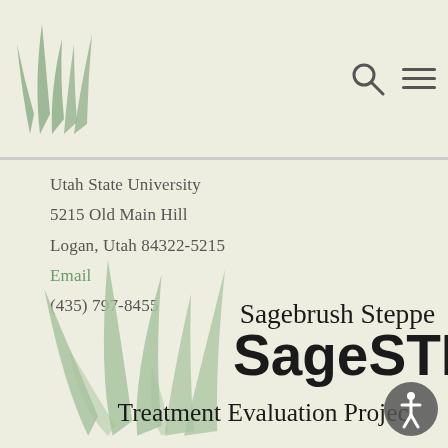[Figure (logo): Sagebrush grass logo mark in muted green at top left header]
Utah State University
5215 Old Main Hill
Logan, Utah 84322-5215
Email
(435) 797-8455
[Figure (logo): Sagebrush Steppe SageSTEP Treatment Evaluation Project full logo with grass illustration and bold text]